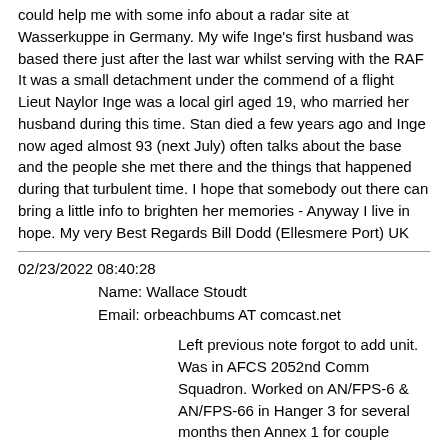could help me with some info about a radar site at Wasserkuppe in Germany. My wife Inge's first husband was based there just after the last war whilst serving with the RAF It was a small detachment under the commend of a flight Lieut Naylor Inge was a local girl aged 19, who married her husband during this time. Stan died a few years ago and Inge now aged almost 93 (next July) often talks about the base and the people she met there and the things that happened during that turbulent time. I hope that somebody out there can bring a little info to brighten her memories - Anyway I live in hope. My very Best Regards Bill Dodd (Ellesmere Port) UK
02/23/2022 08:40:28
Name: Wallace Stoudt
Email: orbeachbums AT comcast.net
Left previous note forgot to add unit. Was in AFCS 2052nd Comm Squadron. Worked on AN/FPS-6 & AN/FPS-66 in Hanger 3 for several months then Annex 1 for couple years.